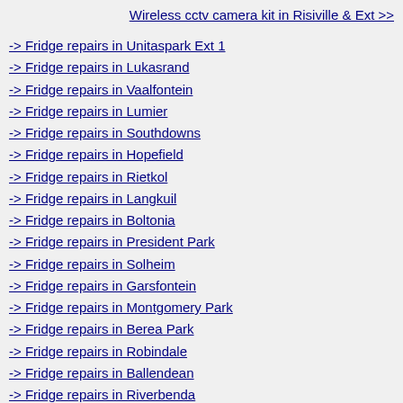Wireless cctv camera kit in Risiville & Ext >>
-> Fridge repairs in Unitaspark Ext 1
-> Fridge repairs in Lukasrand
-> Fridge repairs in Vaalfontein
-> Fridge repairs in Lumier
-> Fridge repairs in Southdowns
-> Fridge repairs in Hopefield
-> Fridge repairs in Rietkol
-> Fridge repairs in Langkuil
-> Fridge repairs in Boltonia
-> Fridge repairs in President Park
-> Fridge repairs in Solheim
-> Fridge repairs in Garsfontein
-> Fridge repairs in Montgomery Park
-> Fridge repairs in Berea Park
-> Fridge repairs in Robindale
-> Fridge repairs in Ballendean
-> Fridge repairs in Riverbenda
-> Fridge repairs in Vredepark
-> Fridge repairs in Noordloch
-> Fridge repairs in Beyerspark
-> Fridge repairs in Highveld
-> Fridge repairs in Klopperpark
-> Fridge repairs in Dorelan
-> Fridge repairs in Soholan